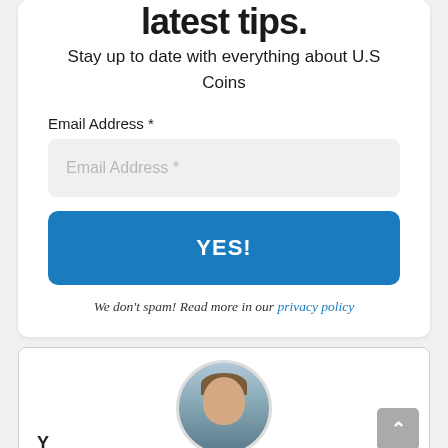latest tips.
Stay up to date with everything about U.S Coins
Email Address *
Email Address *
YES!
We don't spam! Read more in our privacy policy
[Figure (photo): Circular avatar photo of a man smiling, with a background showing what appears to be a marina or waterfront]
Y